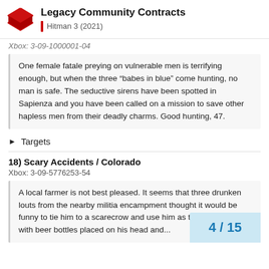Legacy Community Contracts | Hitman 3 (2021)
Xbox: 3-09-1000001-04
One female fatale preying on vulnerable men is terrifying enough, but when the three “babes in blue” come hunting, no man is safe. The seductive sirens have been spotted in Sapienza and you have been called on a mission to save other hapless men from their deadly charms. Good hunting, 47.
►  Targets
18) Scary Accidents / Colorado
Xbox: 3-09-5776253-54
A local farmer is not best pleased. It seems that three drunken louts from the nearby militia encampment thought it would be funny to tie him to a scarecrow and use him as target practice with beer bottles placed on his head and...
4 / 15